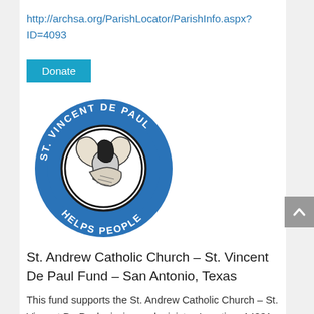http://archsa.org/ParishLocator/ParishInfo.aspx?ID=4093
Donate
[Figure (logo): St. Vincent De Paul – Helps People circular logo with blue background and interlocking hands in center]
St. Andrew Catholic Church – St. Vincent De Paul Fund – San Antonio, Texas
This fund supports the St. Andrew Catholic Church – St. Vincent De Paul mission and ministry. Location: 14831 Main Street, Lytle, Texas 78052. Phone: (830) 709-4287. Facebook: